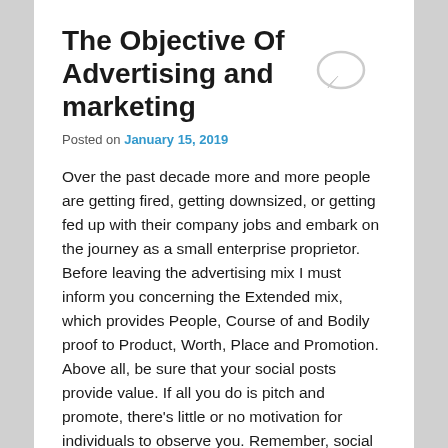The Objective Of Advertising and marketing
Posted on January 15, 2019
Over the past decade more and more people are getting fired, getting downsized, or getting fed up with their company jobs and embark on the journey as a small enterprise proprietor. Before leaving the advertising mix I must inform you concerning the Extended mix, which provides People, Course of and Bodily proof to Product, Worth, Place and Promotion. Above all, be sure that your social posts provide value. If all you do is pitch and promote, there’s little or no motivation for individuals to observe you. Remember, social advertising is all about constructing relationships. Be human. Be sincere. Provide great content. 2. It takes far more effort and time than you ever thought it will. We consider advertising as a few promotional things we do right here and there. This ought